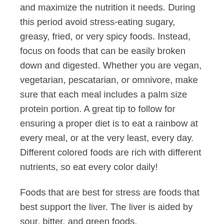and maximize the nutrition it needs. During this period avoid stress-eating sugary, greasy, fried, or very spicy foods. Instead, focus on foods that can be easily broken down and digested. Whether you are vegan, vegetarian, pescatarian, or omnivore, make sure that each meal includes a palm size protein portion. A great tip to follow for ensuring a proper diet is to eat a rainbow at every meal, or at the very least, every day. Different colored foods are rich with different nutrients, so eat every color daily!
Foods that are best for stress are foods that best support the liver. The liver is aided by sour, bitter, and green foods.
Consider bringing these into your diet:
Arugula